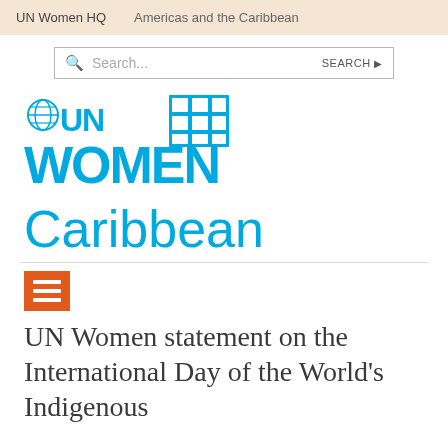UN Women HQ    Americas and the Caribbean
[Figure (screenshot): Search bar with magnifying glass icon, placeholder text 'Search...' and 'SEARCH' button with arrow]
[Figure (logo): UN Women logo in blue with globe icon and grid icon]
Caribbean
[Figure (other): Orange square menu/hamburger icon with three horizontal white bars]
UN Women statement on the International Day of the World's Indigenous